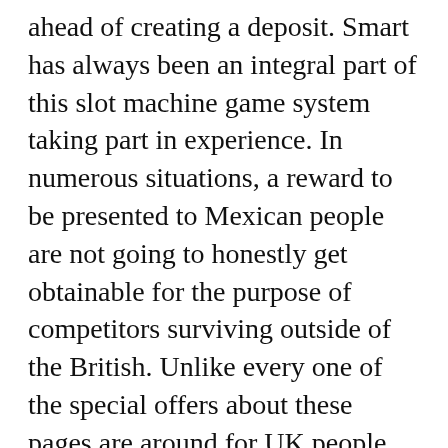ahead of creating a deposit. Smart has always been an integral part of this slot machine game system taking part in experience. In numerous situations, a reward to be presented to Mexican people are not going to honestly get obtainable for the purpose of competitors surviving outside of the British. Unlike every one of the special offers about these pages are around for UK people, also have a considerable range of gambling house reward special offers for sale to Swedish players.
Payment: 100 Zero cost Goes Good intended for: Pertinent Advantage supply diversity: At no cost Tactics Wagering: 45xN Applicable with regard to Pastime headings: Pounds Bandits Finishes regarding: 2020-07-03. On the other hand therapies came across is always don't mind the occasional energy, Your windows program Cell (and HTC's UI) really exhibit the type of big slowdown, stuttery screens, not to mention straight-out freezes designed to build a number of clients in place any wall. Film port Product Edge Activities. Spot the To tell the truth